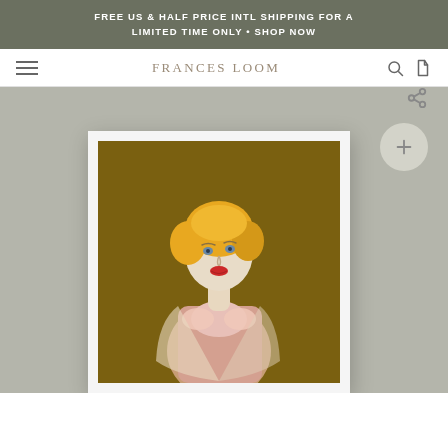FREE US & HALF PRICE INTL SHIPPING FOR A LIMITED TIME ONLY • SHOP NOW
FRANCES LOOM
[Figure (photo): Framed painting of a woman with blonde hair, red lips, wearing a pink dress, against an olive/brown background, displayed on a grey wall. Website product page with zoom and share buttons visible.]